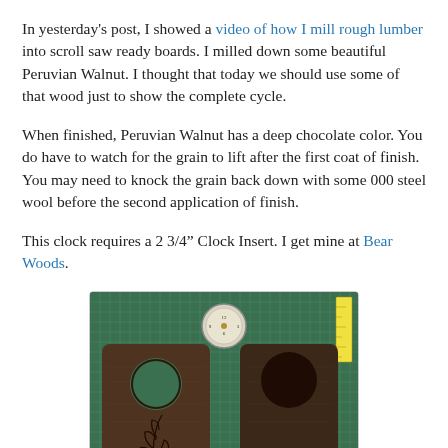In yesterday's post, I showed a video of how I mill rough lumber into scroll saw ready boards. I milled down some beautiful Peruvian Walnut. I thought that today we should use some of that wood just to show the complete cycle.
When finished, Peruvian Walnut has a deep chocolate color. You do have to watch for the grain to lift after the first coat of finish. You may need to knock the grain back down with some 000 steel wool before the second application of finish.
This clock requires a 2 3/4” Clock Insert. I get mine at Bear Woods.
[Figure (photo): Photo of two dark walnut wood clock pieces and a small clock insert on a green cutting mat. The left piece has a circular hole and a scroll saw leaf design cut into it. The right piece has a circular hole and a rounded notch at the bottom. A small white clock insert (2 3/4 inch) sits at the top center.]